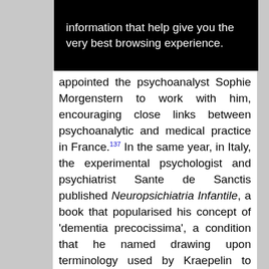information that help give you the very best browsing experience.
appointed the psychoanalyst Sophie Morgenstern to work with him, encouraging close links between psychoanalytic and medical practice in France.[137] In the same year, in Italy, the experimental psychologist and psychiatrist Sante de Sanctis published Neuropsichiatria Infantile, a book that popularised his concept of 'dementia precocissima', a condition that he named drawing upon terminology used by Kraepelin to define very early dementia.[138] De Sanctis organised the fifth International Conference on Psychology where he presented on the testing of children with low intelligence, along with Binet and Simon, and he maintained a strong interest in dream analysis as well as